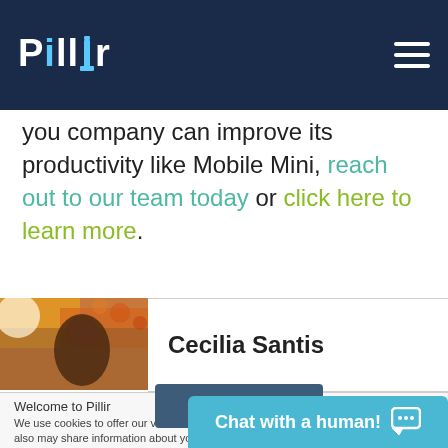Pillir
you company can improve its productivity like Mobile Mini, reach out to our team today or click here to learn more.
[Figure (photo): Author profile photo of Cecilia Santis showing a person with autumn foliage in the background]
Cecilia Santis
Welcome to Pillir
We use cookies to offer our visitors a better experience and personalized content. We also may share information about your use of our site with our social media, advertising and analytics partners.
Accept Cookies
Chat with a human!